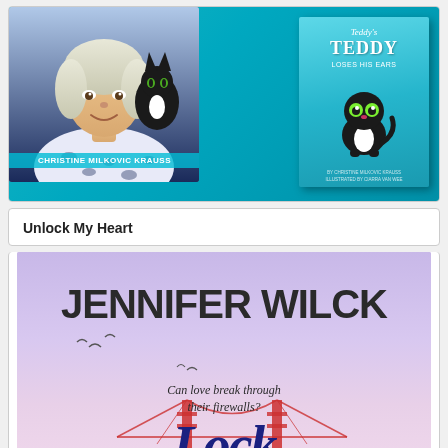[Figure (illustration): Book promotional image showing author Christine Milkovic Krauss holding a black cat, alongside the book cover 'Teddy Loses His Ears' on a teal/turquoise background, with the author's name displayed at the bottom left.]
Unlock My Heart
[Figure (illustration): Book cover image for 'Unlock My Heart' by Jennifer Wilck, showing the author's name in large bold text, tagline 'Can love break through their firewalls?', a bridge (Golden Gate style) in the background, and a script title at the bottom, set against a pastel purple/pink sky.]